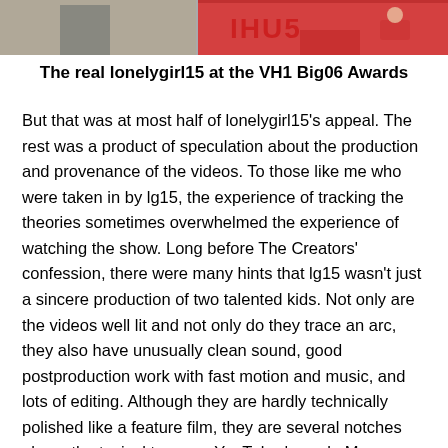[Figure (photo): Partial photo of a person wearing a red outfit, cropped at the top of the page]
The real lonelygirl15 at the VH1 Big06 Awards
But that was at most half of lonelygirl15's appeal. The rest was a product of speculation about the production and provenance of the videos. To those like me who were taken in by lg15, the experience of tracking the theories sometimes overwhelmed the experience of watching the show. Long before The Creators' confession, there were many hints that lg15 wasn't just a sincere production of two talented kids. Not only are the videos well lit and not only do they trace an arc, they also have unusually clean sound, good postproduction work with fast motion and music, and lots of editing. Although they are hardly technically polished like a feature film, they are several notches above the typical teenage YouTuber's work. More curious yet, in a video